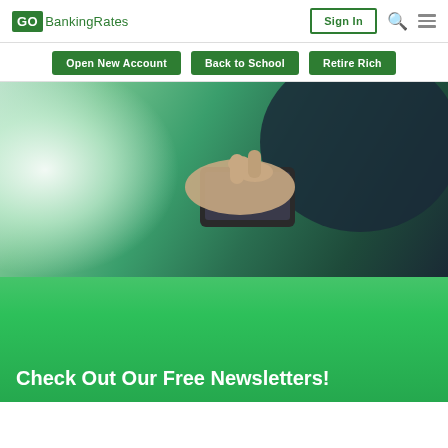GOBankingRates | Sign In
Open New Account
Back to School
Retire Rich
[Figure (photo): Person's hands holding and tapping a smartphone, with a green color overlay. Below the photo is a bright green gradient band.]
Check Out Our Free Newsletters!